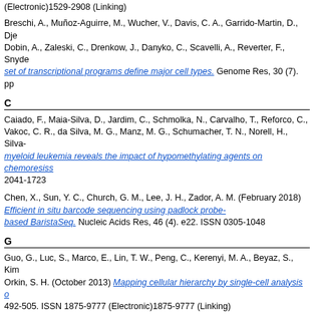(Electronic)1529-2908 (Linking)
Breschi, A., Muñoz-Aguirre, M., Wucher, V., Davis, C. A., Garrido-Martin, D., Dje... Dobin, A., Zaleski, C., Drenkow, J., Danyko, C., Scavelli, A., Reverter, F., Snyde... set of transcriptional programs define major cell types. Genome Res, 30 (7). pp
C
Caiado, F., Maia-Silva, D., Jardim, C., Schmolka, N., Carvalho, T., Reforco, C., ... Vakoc, C. R., da Silva, M. G., Manz, M. G., Schumacher, T. N., Norell, H., Silva-... myeloid leukemia reveals the impact of hypomethylating agents on chemoresiss... 2041-1723
Chen, X., Sun, Y. C., Church, G. M., Lee, J. H., Zador, A. M. (February 2018) Efficient in situ barcode sequencing using padlock probe-based BaristaSeq. Nucleic Acids Res, 46 (4). e22. ISSN 0305-1048
G
Guo, G., Luc, S., Marco, E., Lin, T. W., Peng, C., Kerenyi, M. A., Beyaz, S., Kim... Orkin, S. H. (October 2013) Mapping cellular hierarchy by single-cell analysis o... 492-505. ISSN 1875-9777 (Electronic)1875-9777 (Linking)
K
Kastriti, M. E., Kameneva, P., Kamenev, D., Dyachuk, V., Furlan, A., Hampl, M., ... Calvo-Enrique, L., Ernfors, P., Fried, K., Adameyko, I. (January 2019) Schwann... Cells in Zuckerkandl Organ and Some Sympathetic Neurons in Paraganglia. Fr...